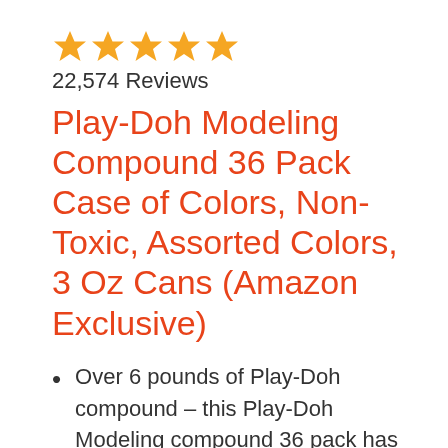[Figure (other): Five gold star rating icons in a row]
22,574 Reviews
Play-Doh Modeling Compound 36 Pack Case of Colors, Non-Toxic, Assorted Colors, 3 Oz Cans (Amazon Exclusive)
Over 6 pounds of Play-Doh compound – this Play-Doh Modeling compound 36 pack has 36 assorted colors in 3-Ounce cans for all your